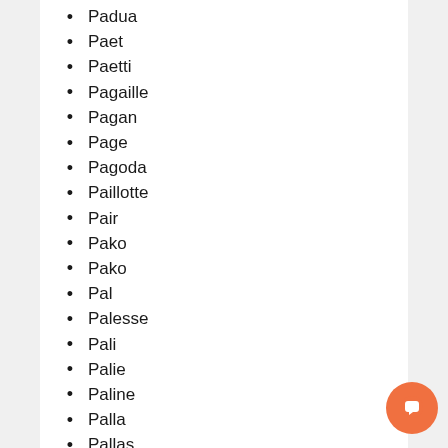Padua
Paet
Paetti
Pagaille
Pagan
Page
Pagoda
Paillotte
Pair
Pako
Pako
Pal
Palesse
Pali
Palie
Paline
Palla
Pallas
Pallie
Pally
Palma